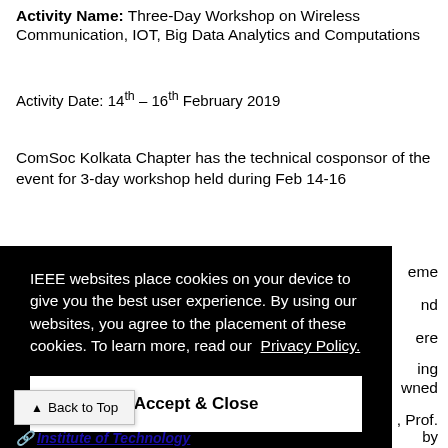Activity Name: Three-Day Workshop on Wireless Communication, IOT, Big Data Analytics and Computations
Activity Date: 14th – 16th February 2019
ComSoc Kolkata Chapter has the technical cosponsor of the event for 3-day workshop held during Feb 14-16
[Figure (screenshot): Cookie consent overlay on IEEE website with black background. Contains text: 'IEEE websites place cookies on your device to give you the best user experience. By using our websites, you agree to the placement of these cookies. To learn more, read our Privacy Policy.' with an 'Accept & Close' button. Also shows a 'Back to Top' button in the lower left.]